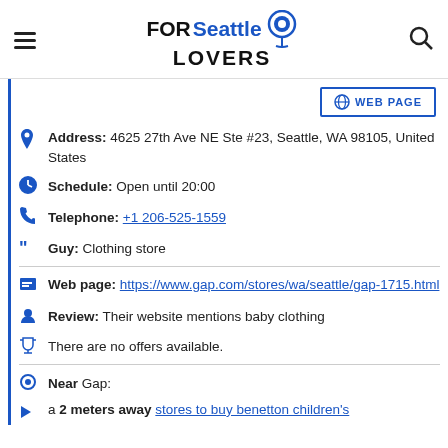FOR Seattle LOVERS
WEB PAGE
Address: 4625 27th Ave NE Ste #23, Seattle, WA 98105, United States
Schedule: Open until 20:00
Telephone: +1 206-525-1559
Guy: Clothing store
Web page: https://www.gap.com/stores/wa/seattle/gap-1715.html
Review: Their website mentions baby clothing
There are no offers available.
Near Gap:
a 2 meters away stores to buy benetton children's